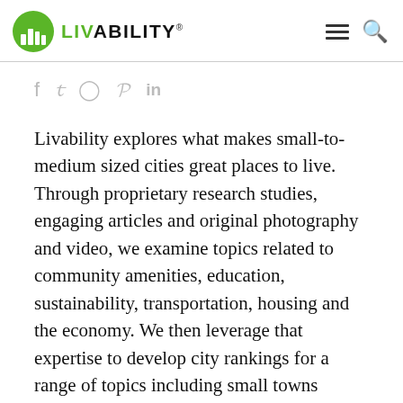LIVABILITY
[Figure (logo): Livability logo with green circle icon and LIVABILITY wordmark, plus hamburger menu and search icon]
f  y  ©  P  in
Livability explores what makes small-to-medium sized cities great places to live. Through proprietary research studies, engaging articles and original photography and video, we examine topics related to community amenities, education, sustainability, transportation, housing and the economy. We then leverage that expertise to develop city rankings for a range of topics including small towns